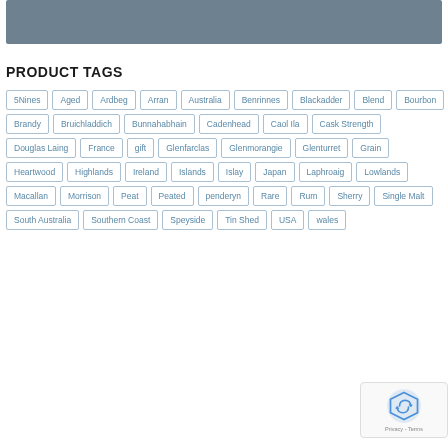[Figure (other): Gray header banner image]
PRODUCT TAGS
5Nines
Aged
Ardbeg
Arran
Australia
Benrinnes
Blackadder
Blend
Bourbon
Brandy
Bruichladdich
Bunnahabhain
Cadenhead
Caol Ila
Cask Strength
Douglas Laing
France
gift
Glenfarclas
Glenmorangie
Glenturret
Grain
Heartwood
Highlands
Ireland
Islands
Islay
Japan
Laphroaig
Lowlands
Macallan
Morrison
Peat
Peated
penderyn
Rare
Rum
Sherry
Single Malt
South Australia
Southern Coast
Speyside
Tin Shed
USA
wales